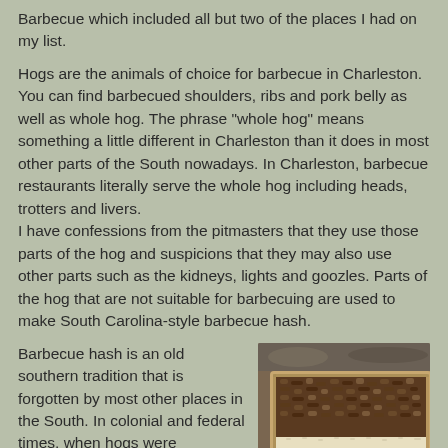Barbecue which included all but two of the places I had on my list.
Hogs are the animals of choice for barbecue in Charleston. You can find barbecued shoulders, ribs and pork belly as well as whole hog. The phrase "whole hog" means something a little different in Charleston than it does in most other parts of the South nowadays. In Charleston, barbecue restaurants literally serve the whole hog including heads, trotters and livers.
I have confessions from the pitmasters that they use those parts of the hog and suspicions that they may also use other parts such as the kidneys, lights and goozles. Parts of the hog that are not suitable for barbecuing are used to make South Carolina-style barbecue hash.
Barbecue hash is an old southern tradition that is forgotten by most other places in the South. In colonial and federal times, when hogs were
[Figure (photo): A photo of South Carolina-style barbecue hash served in a paper/cardboard container, showing a dark brown crumbly meat mixture over what appears to be rice.]